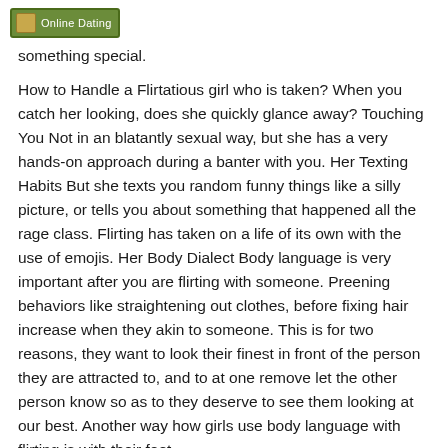Online Dating
something special.
How to Handle a Flirtatious girl who is taken? When you catch her looking, does she quickly glance away? Touching You Not in an blatantly sexual way, but she has a very hands-on approach during a banter with you. Her Texting Habits But she texts you random funny things like a silly picture, or tells you about something that happened all the rage class. Flirting has taken on a life of its own with the use of emojis. Her Body Dialect Body language is very important after you are flirting with someone. Preening behaviors like straightening out clothes, before fixing hair increase when they akin to someone. This is for two reasons, they want to look their finest in front of the person they are attracted to, and to at one remove let the other person know so as to they deserve to see them looking at our best. Another way how girls use body language with flirting is with their feet.